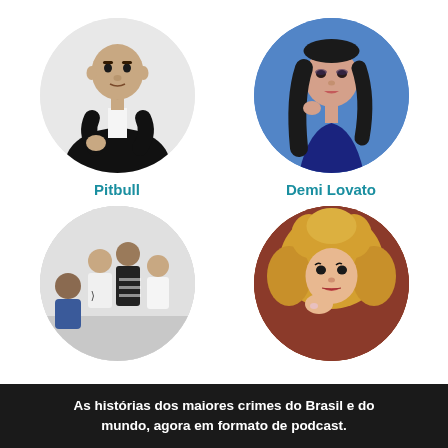[Figure (photo): Circular photo of Pitbull wearing a black suit and bow tie]
[Figure (photo): Circular photo of Demi Lovato with dark hair against blue background]
Pitbull
Demi Lovato
[Figure (photo): Circular photo of a music band (multiple members) in a studio setting]
[Figure (photo): Circular photo of a blonde woman with curly hair resting chin on hand]
As histórias dos maiores crimes do Brasil e do mundo, agora em formato de podcast.